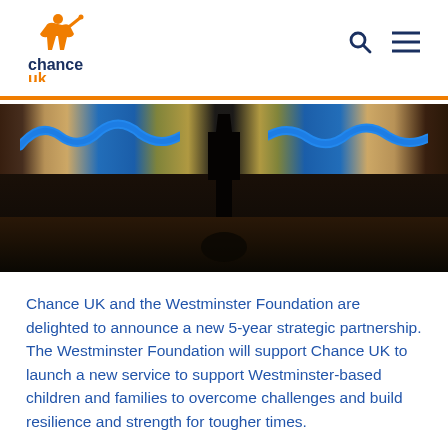Chance UK
[Figure (photo): Dark photograph showing a person's silhouette in front of a large illuminated mural/artwork with blue wave patterns and colourful imagery]
Chance UK and the Westminster Foundation are delighted to announce a new 5-year strategic partnership. The Westminster Foundation will support Chance UK to launch a new service to support Westminster-based children and families to overcome challenges and build resilience and strength for tougher times.
Chance UK CEO, Geethika Jayatilaka said: “We know that children and families are facing challenges and difficulties, now more than ever before. We are delighted that the